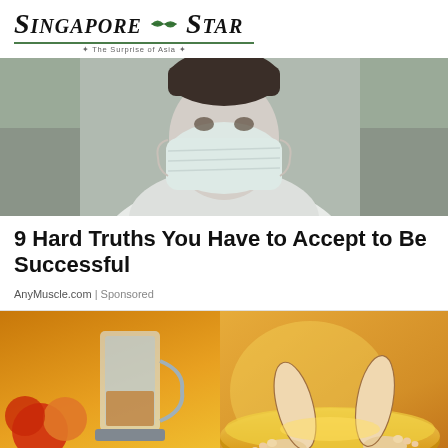Singapore Star — The Surprise of Asia
[Figure (photo): Person wearing a white face/surgical mask, close-up photo with blurred background]
9 Hard Truths You Have to Accept to Be Successful
AnyMuscle.com | Sponsored
[Figure (illustration): Illustrated image showing feet soaking in a yellow liquid bowl, with fruits and a glass blender in the background, cartoon/illustration style]